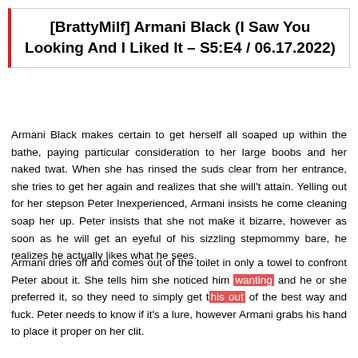[BrattyMilf] Armani Black (I Saw You Looking And I Liked It – S5:E4 / 06.17.2022)
Armani Black makes certain to get herself all soaped up within the bathe, paying particular consideration to her large boobs and her naked twat. When she has rinsed the suds clear from her entrance, she tries to get her again and realizes that she will't attain. Yelling out for her stepson Peter Inexperienced, Armani insists he come cleaning soap her up. Peter insists that she not make it bizarre, however as soon as he will get an eyeful of his sizzling stepmommy bare, he realizes he actually likes what he sees.
Armani dries off and comes out of the toilet in only a towel to confront Peter about it. She tells him she noticed him wanting and he or she preferred it, so they need to simply get this out of the best way and fuck. Peter needs to know if it's a lure, however Armani grabs his hand to place it proper on her clit.